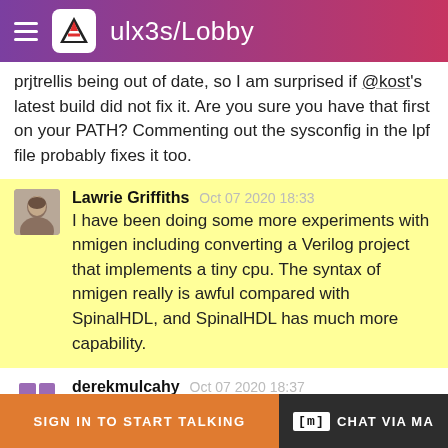ulx3s/Lobby
prjtrellis being out of date, so I am surprised if @kost's latest build did not fix it. Are you sure you have that first on your PATH? Commenting out the sysconfig in the lpf file probably fixes it too.
Lawrie Griffiths  Oct 07 2020 18:33
I have been doing some more experiments with nmigen including converting a Verilog project that implements a tiny cpu. The syntax of nmigen really is awful compared with SpinalHDL, and SpinalHDL has much more capability.
derekmulcahy  Oct 07 2020 18:37
Yes, it is an odd one. I had been building trellis/nextpnr etc myself for months now. I must have odd versions hanging around. I seem to remember an issue with a
SIGN IN TO START TALKING    [m] CHAT VIA MA